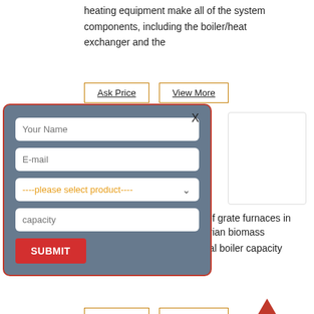heating equipment make all of the system components, including the boiler/heat exchanger and the
[Figure (screenshot): Two orange-outlined buttons labeled 'Ask Price' and 'View More']
[Figure (screenshot): A modal/popup form with a dark blue-grey background and red border, containing fields: Your Name, E-mail, a dropdown '----please select product----', a capacity field, and a red SUBMIT button. A close X is at top right.]
of grate furnaces in the typical size range of Austrian biomass district heating plants (nominal boiler capacity 0.5 – 10 MWth) from the
[Figure (screenshot): Two orange-outlined buttons labeled 'Ask Price' and 'View More', and a red TOP triangle button at bottom right]